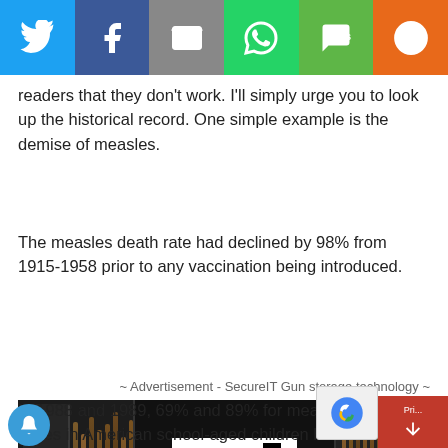[Figure (other): Social media share bar with Twitter, Facebook, Email, WhatsApp, SMS, and More buttons]
readers that they don't work. I'll simply urge you to look up the historical record. One simple example is the demise of measles.
The measles death rate had declined by 98% from 1915-1958 prior to any vaccination being introduced.
~ Advertisement - SecureIT Gun storage technology ~
[Figure (photo): SecureIt Intelligent Firearm Storage advertisement showing gun safes with CradleGrid Technology]
In 1988 and 1989, 69% and 89% for measles cases in American school-aged children had